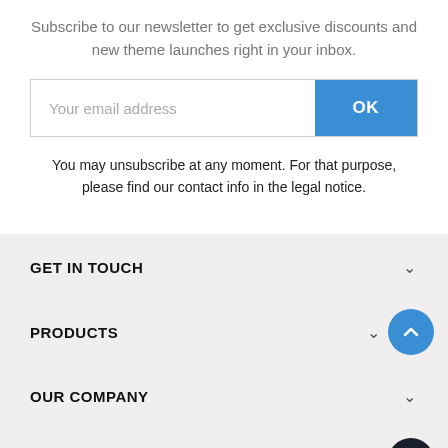Subscribe to our newsletter to get exclusive discounts and new theme launches right in your inbox.
[Figure (screenshot): Email subscription form with an input field placeholder 'Your email address' and a blue OK button]
You may unsubscribe at any moment. For that purpose, please find our contact info in the legal notice.
GET IN TOUCH
PRODUCTS
OUR COMPANY
YOUR ACCOUNT